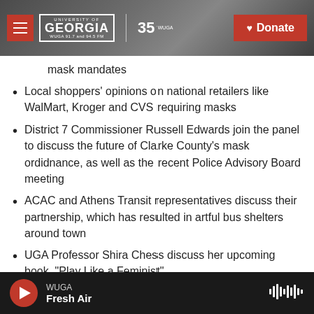[Figure (screenshot): WUGA University of Georgia radio website header with logo, divider, 35 WUGA anniversary mark, and red Donate button]
mask mandates
Local shoppers' opinions on national retailers like WalMart, Kroger and CVS requiring masks
District 7 Commissioner Russell Edwards join the panel to discuss the future of Clarke County's mask ordidnance, as well as the recent Police Advisory Board meeting
ACAC and Athens Transit representatives discuss their partnership, which has resulted in artful bus shelters around town
UGA Professor Shira Chess discuss her upcoming book, "Play Like a Feminist"
How the coronavirus pandemic could exacerbate
WUGA | Fresh Air